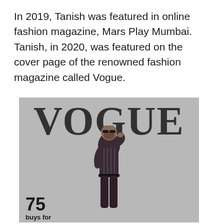In 2019, Tanish was featured in online fashion magazine, Mars Play Mumbai. Tanish, in 2020, was featured on the cover page of the renowned fashion magazine called Vogue.
[Figure (photo): A Vogue magazine cover featuring a man in a dark suit and striped shirt, wearing sunglasses, posing in front of a building. The large VOGUE logo appears at the top. A '75' and 'buys for' text appears at the bottom left.]